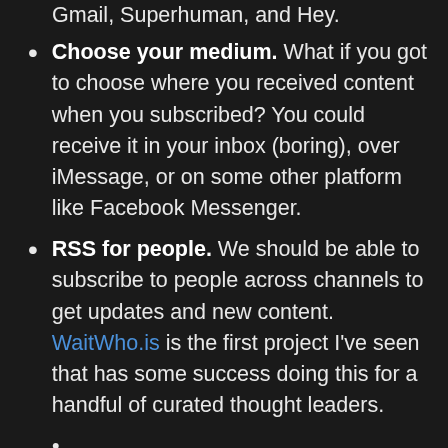Gmail, Superhuman, and Hey.
Choose your medium. What if you got to choose where you received content when you subscribed? You could receive it in your inbox (boring), over iMessage, or on some other platform like Facebook Messenger.
RSS for people. We should be able to subscribe to people across channels to get updates and new content. WaitWho.is is the first project I've seen that has some success doing this for a handful of curated thought leaders.